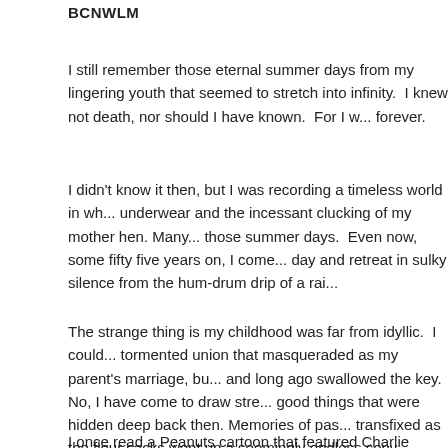BCNWLM
I still remember those eternal summer days from my lingering youth that seemed to stretch into infinity. I knew not death, nor should I have known. For I was going to last forever.
I didn't know it then, but I was recording a timeless world in which there were only vests and underwear and the incessant clucking of my mother hen. Many things have stayed with me from those summer days. Even now, some fifty five years on, I come to recall that time of day and retreat in sulky silence from the hum-drum drip of a rai...
The strange thing is my childhood was far from idyllic. I could dwell endlessly on the tormented union that masqueraded as my parent's marriage, but I have locked those doors and long ago swallowed the key. No, I have come to draw strength from the genuinely good things that were hidden deep back then. Memories of passing the local mill, transfixed as the flour sacks went up a seemingly endless conv... above and my mother tugging at me gently, reminding me of th...
I once read a Peanuts cartoon that featured Charlie Brown and ... against an old tree. They were philosophising about childhood...